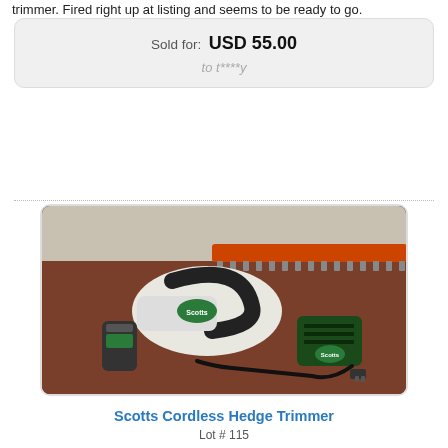trimmer. Fired right up at listing and seems to be ready to go.
Sold for: USD 55.00
to t****y
[Figure (photo): Scotts cordless hedge trimmer with battery and charger on a reddish-brown table surface]
Scotts Cordless Hedge Trimmer
Lot # 115